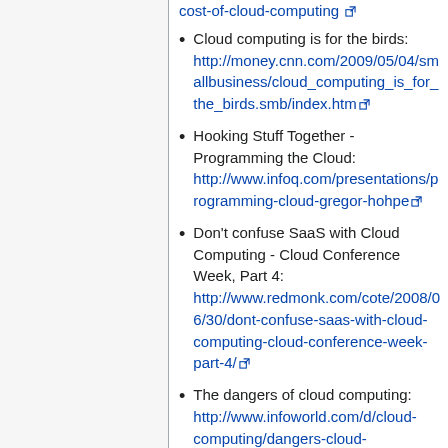Cloud computing is for the birds: http://money.cnn.com/2009/05/04/smallbusiness/cloud_computing_is_for_the_birds.smb/index.htm
Hooking Stuff Together - Programming the Cloud: http://www.infoq.com/presentations/programming-cloud-gregor-hohpe
Don't confuse SaaS with Cloud Computing - Cloud Conference Week, Part 4: http://www.redmonk.com/cote/2008/06/30/dont-confuse-saas-with-cloud-computing-cloud-conference-week-part-4/
The dangers of cloud computing: http://www.infoworld.com/d/cloud-computing/dangers-cloud-computing-839